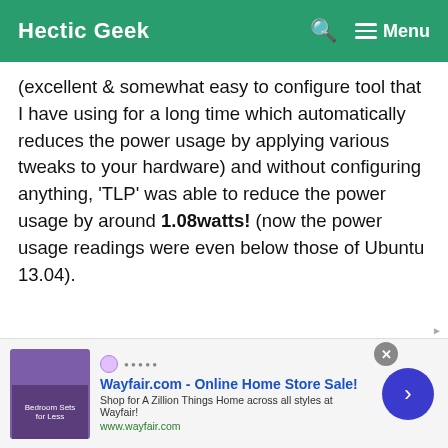Hectic Geek   🔍   ☰ Menu
(excellent & somewhat easy to configure tool that I have using for a long time which automatically reduces the power usage by applying various tweaks to your hardware) and without configuring anything, 'TLP' was able to reduce the power usage by around 1.08watts! (now the power usage readings were even below those of Ubuntu 13.04).
[Figure (screenshot): Terminal output showing Minimum and Maximum rows with values: Minimum 0.0 0.0 0.1 98.6 0.0 1.0 157.4, Maximum 0.2 0.0 0.3 99.8 1.0 2.0 261.1, followed by Summary: label. Dashed lines separate rows. Dark purple background with monospace white text.]
Wayfair.com - Online Home Store Sale! Shop for A Zillion Things Home across all styles at Wayfair! www.wayfair.com